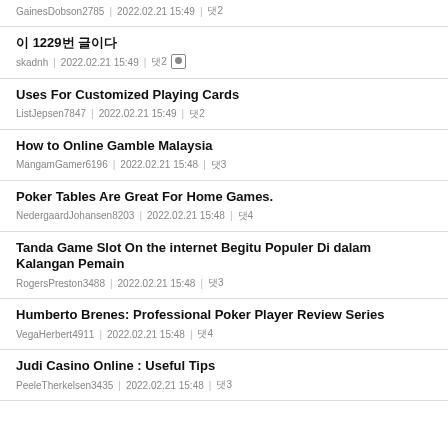GainesDobson2785 | 2022.02.21 15:49 | 댓2
이 1229번 글이다
skadnh | 2022.02.21 15:49 | 댓2
Uses For Customized Playing Cards
ListJepsen7847 | 2022.02.21 15:49 | 댓2
How to Online Gamble Malaysia
MangamGamer6196 | 2022.02.21 15:48 | 댓3
Poker Tables Are Great For Home Games.
NedergaardJohansen8203 | 2022.02.21 15:48 | 댓4
Tanda Game Slot On the internet Begitu Populer Di dalam Kalangan Pemain
RogersPreston3488 | 2022.02.21 15:48 | 댓3
Humberto Brenes: Professional Poker Player Review Series
VegaHerbert4911 | 2022.02.21 15:48 | 댓4
Judi Casino Online : Useful Tips
PeeleTherkelsen3435 | 2022.02.21 15:48 | 댓3